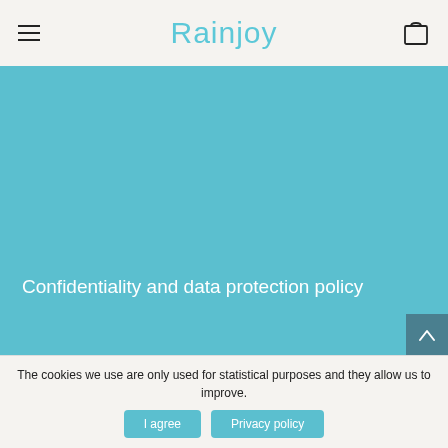Rainjoy
Confidentiality and data protection policy
The cookies we use are only used for statistical purposes and they allow us to improve.
I agree
Privacy policy